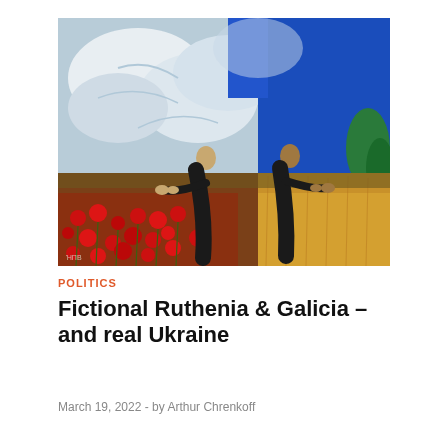[Figure (illustration): Painting of two men reaching toward each other across a divide — left side has red poppy field under cloudy sky, right side has golden wheat field under bright blue sky. Ukrainian flag colors (blue and yellow) dominate the right background. Artist signature visible in lower-left corner.]
POLITICS
Fictional Ruthenia & Galicia – and real Ukraine
March 19, 2022  -  by Arthur Chrenkoff